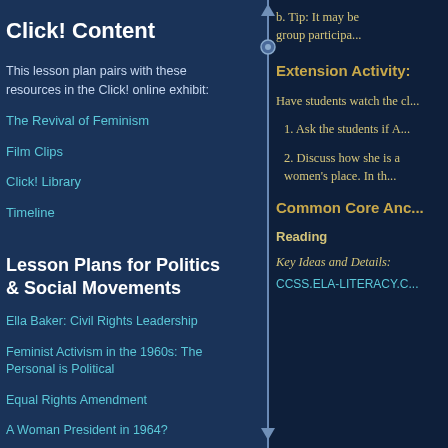b. Tip: It may be group partici...
Extension Activity:
Have students watch the cl...
1. Ask the students if A...
2. Discuss how she is a women's place. In th...
Common Core Anc...
Reading
Key Ideas and Details:
CCSS.ELA-LITERACY.C...
Click! Content
This lesson plan pairs with these resources in the Click! online exhibit:
The Revival of Feminism
Film Clips
Click! Library
Timeline
Lesson Plans for Politics & Social Movements
Ella Baker: Civil Rights Leadership
Feminist Activism in the 1960s: The Personal is Political
Equal Rights Amendment
A Woman President in 1964?